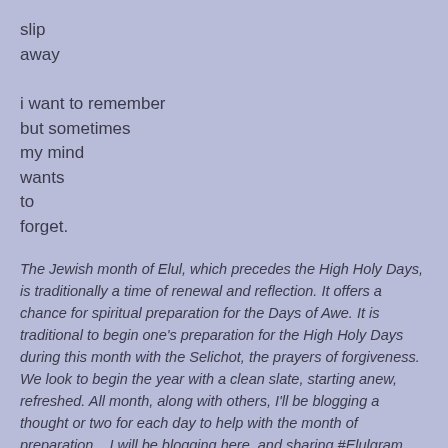slip
away

i want to remember
but sometimes
my mind
wants
to
forget.
The Jewish month of Elul, which precedes the High Holy Days, is traditionally a time of renewal and reflection. It offers a chance for spiritual preparation for the Days of Awe. It is traditional to begin one's preparation for the High Holy Days during this month with the Selichot, the prayers of forgiveness. We look to begin the year with a clean slate, starting anew, refreshed. All month, along with others, I'll be blogging a thought or two for each day to help with the month of preparation... I will be blogging here, and sharing #Elulgram photos on the same themes at imabima.tumblr.com. Follow me on twitter @imabima for all the #BlogElul posts, not only mine but others' as well! This